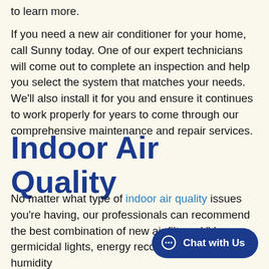to learn more.
If you need a new air conditioner for your home, call Sunny today. One of our expert technicians will come out to complete an inspection and help you select the system that matches your needs. We'll also install it for you and ensure it continues to work properly for years to come through our comprehensive maintenance and repair services.
Indoor Air Quality
No matter what type of indoor air quality issues you're having, our professionals can recommend the best combination of new air filters, UV germicidal lights, energy recovery ventilators and humidity